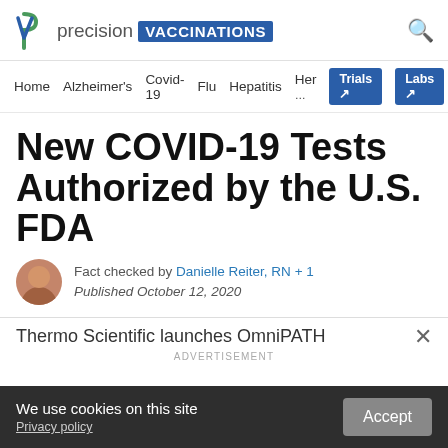precision VACCINATIONS
Home  Alzheimer's  Covid-19  Flu  Hepatitis  Her  Trials  Labs
New COVID-19 Tests Authorized by the U.S. FDA
Fact checked by Danielle Reiter, RN + 1
Published October 12, 2020
Thermo Scientific launches OmniPATH
ADVERTISEMENT
We use cookies on this site
Privacy policy
Accept